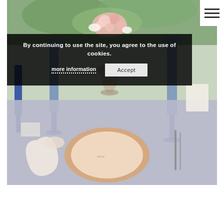[Figure (photo): A wedding table setting with blue glassware, pink flowers and greenery centerpiece, pink/rose gold charger plates with ribbon napkins, on a dusty lavender tablecloth]
By continuing to use the site, you agree to the use of cookies.
more information    Accept